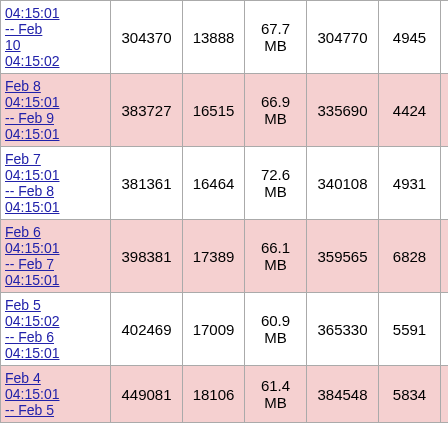| Feb 10 04:15:01 -- Feb 10 04:15:02 | 304370 | 13888 | 67.7 MB | 304770 | 4945 |  |
| Feb 8 04:15:01 -- Feb 9 04:15:01 | 383727 | 16515 | 66.9 MB | 335690 | 4424 |  |
| Feb 7 04:15:01 -- Feb 8 04:15:01 | 381361 | 16464 | 72.6 MB | 340108 | 4931 |  |
| Feb 6 04:15:01 -- Feb 7 04:15:01 | 398381 | 17389 | 66.1 MB | 359565 | 6828 |  |
| Feb 5 04:15:02 -- Feb 6 04:15:01 | 402469 | 17009 | 60.9 MB | 365330 | 5591 |  |
| Feb 4 04:15:01 -- Feb 5 | 449081 | 18106 | 61.4 MB | 384548 | 5834 |  |